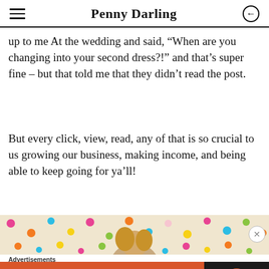Penny Darling
up to me At the wedding and said, “When are you changing into your second dress?!” and that’s super fine – but that told me that they didn’t read the post.
But every click, view, read, any of that is so crucial to us growing our business, making income, and being able to keep going for ya’ll!
[Figure (photo): Partial view of a woman with blonde hair against a colorful polka dot background, with an ad close button (X) overlay]
Advertisements
[Figure (screenshot): DuckDuckGo advertisement banner: orange left section reads 'Search, browse, and email with more privacy. All in One Free App', dark right section shows DuckDuckGo logo and name]